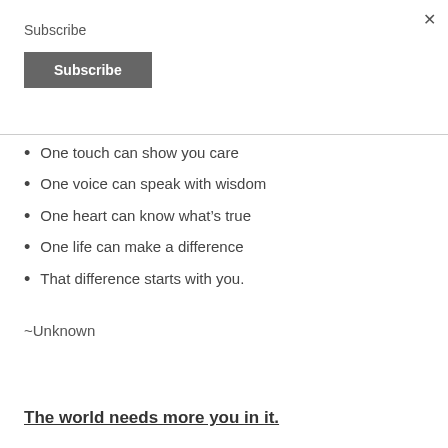Subscribe
Subscribe
One touch can show you care
One voice can speak with wisdom
One heart can know what’s true
One life can make a difference
That difference starts with you.
~Unknown
The world needs more you in it.